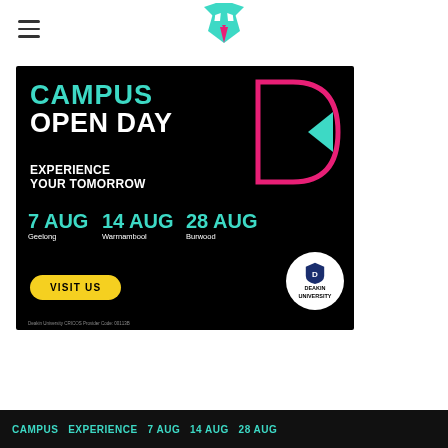[Figure (logo): Fox-like logo (green and pink geometric bird/fox head) centered in page header]
[Figure (infographic): Deakin University Campus Open Day advertisement. Black background with teal/white/yellow text. Headline: CAMPUS OPEN DAY. Subhead: EXPERIENCE YOUR TOMORROW. Dates: 7 AUG Geelong, 14 AUG Warrnambool, 28 AUG Burwood. Yellow rounded button: VISIT US. Deakin University logo (white circle). CRICOS Provider Code: 00113B. Geometric D shape outline in pink/teal top right.]
[Figure (infographic): Partial bottom banner repeating the Campus Open Day advertisement content, cut off at page bottom.]